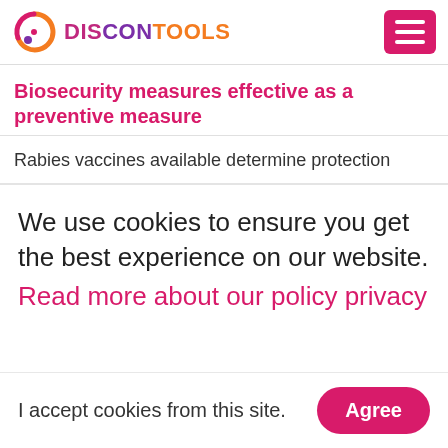DISCONTOOLS
Biosecurity measures effective as a preventive measure
Rabies vaccines available determine protection
We use cookies to ensure you get the best experience on our website.
Read more about our policy privacy
I accept cookies from this site. Agree